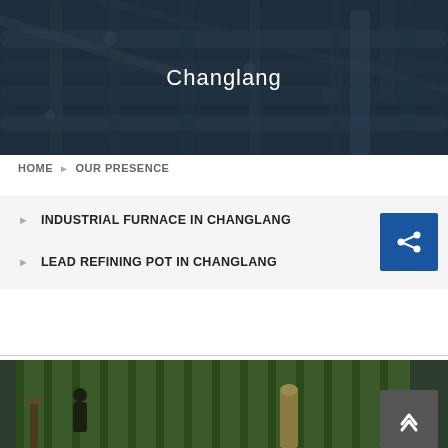[Figure (photo): Industrial pipes and equipment, dark blue-grey industrial facility background with text overlay 'Changlang']
Changlang
HOME › OUR PRESENCE
› INDUSTRIAL FURNACE IN CHANGLANG
› LEAD REFINING POT IN CHANGLANG
[Figure (photo): Industrial facility interior showing green corrugated walls and machinery, partial view]